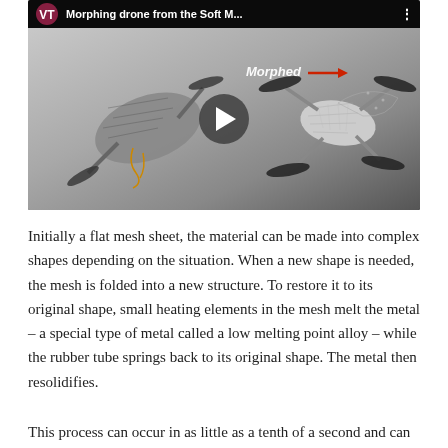[Figure (screenshot): YouTube video thumbnail showing a morphing drone from the Soft Materials lab at Virginia Tech. The thumbnail shows two states of the drone — an unformed state on the left and a morphed state on the right with text 'Morphed' and an arrow. The video has a play button in the center.]
Initially a flat mesh sheet, the material can be made into complex shapes depending on the situation. When a new shape is needed, the mesh is folded into a new structure. To restore it to its original shape, small heating elements in the mesh melt the metal – a special type of metal called a low melting point alloy – while the rubber tube springs back to its original shape. The metal then resolidifies.
This process can occur in as little as a tenth of a second and can